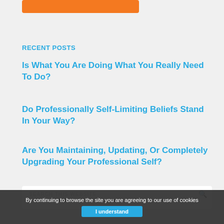[Figure (other): Orange button/banner at top of sidebar]
RECENT POSTS
Is What You Are Doing What You Really Need To Do?
Do Professionally Self-Limiting Beliefs Stand In Your Way?
Are You Maintaining, Updating, Or Completely Upgrading Your Professional Self?
[Figure (other): Search box with placeholder text SEARCH THIS WEBSITE and magnifying glass icon]
By continuing to browse the site you are agreeing to our use of cookies
I understand